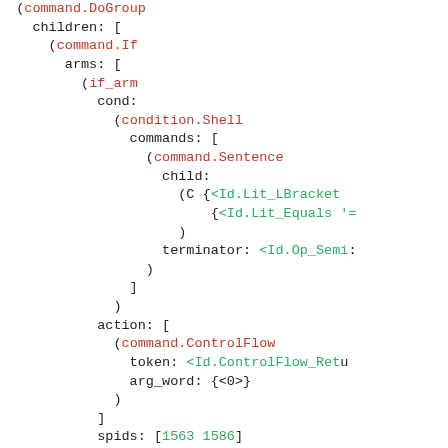[Figure (screenshot): Source code listing showing a structured AST/IR representation with colored syntax: red for type names like command.DoGroup, command.If, if_arm, condition.Shell, command.Sentence, command.ControlFlow; green for string values like <Id.Lit_LBracket, <Id.Lit_Equals '=, <Id.Op_Semi, <Id.ControlFlow_Retu; black for field names and punctuation.]